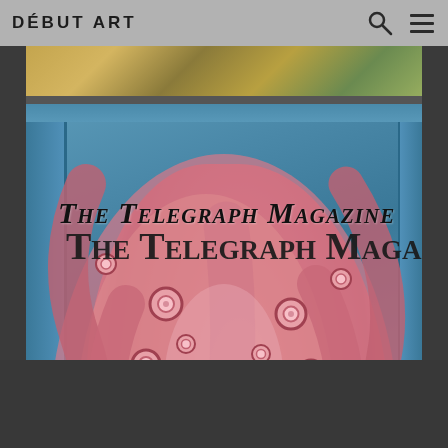DÉBUT ART
[Figure (photo): Website screenshot showing Début Art gallery page with header containing logo 'DÉBUT ART' on gray bar with search and menu icons. Below is a magazine cover image showing raw octopus tentacles in a blue plastic bin with text overlay reading 'The Telegraph Magazine' in blackletter/gothic font.]